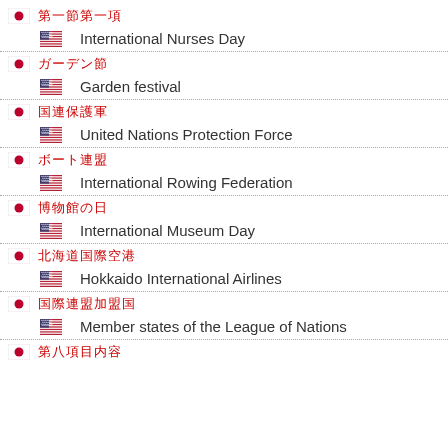Japanese text - International Nurses Day
Japanese text - Garden festival
Japanese text - United Nations Protection Force
Japanese text - International Rowing Federation
Japanese text - International Museum Day
Japanese text - Hokkaido International Airlines
Japanese text - Member states of the League of Nations
Japanese text - (partial)